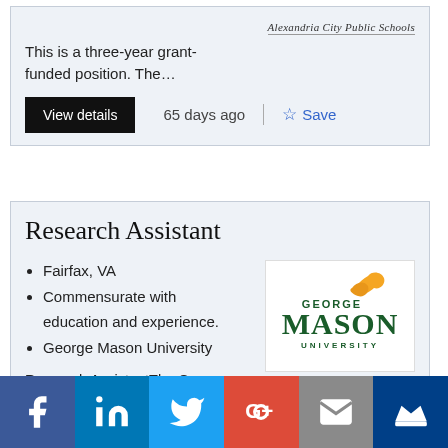[Figure (logo): Alexandria City Public Schools logo/text]
This is a three-year grant-funded position. The…
View details
65 days ago
Save
Research Assistant
Fairfax, VA
Commensurate with education and experience.
George Mason University
[Figure (logo): George Mason University logo with green text and gold leaf]
Research AssistantThe George Mason University Center for Applied Proteomics and Molecular Medici…
Social share icons: Facebook, LinkedIn, Twitter, Google+, Email, Mightyverse